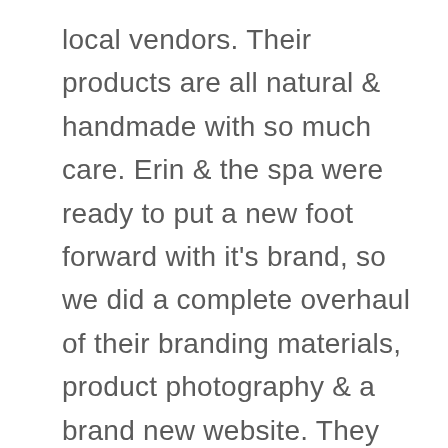local vendors. Their products are all natural & handmade with so much care. Erin & the spa were ready to put a new foot forward with it's brand, so we did a complete overhaul of their branding materials, product photography & a brand new website. They already had their lovely logo, so it was a fun challenge to build everything around it.